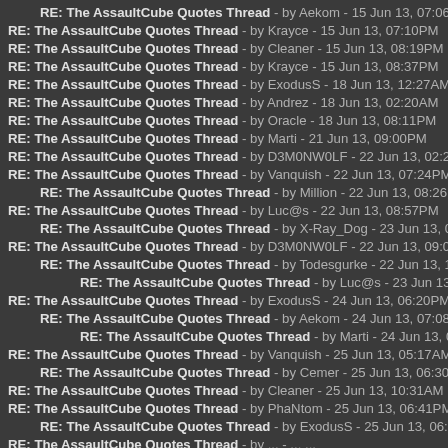RE: The AssaultCube Quotes Thread - by Aekom - 15 Jun 13, 07:06PM
RE: The AssaultCube Quotes Thread - by Krayce - 15 Jun 13, 07:10PM
RE: The AssaultCube Quotes Thread - by Cleaner - 15 Jun 13, 08:19PM
RE: The AssaultCube Quotes Thread - by Krayce - 15 Jun 13, 08:37PM
RE: The AssaultCube Quotes Thread - by ExodusS - 18 Jun 13, 12:27AM
RE: The AssaultCube Quotes Thread - by Andrez - 18 Jun 13, 02:20AM
RE: The AssaultCube Quotes Thread - by Oracle - 18 Jun 13, 08:11PM
RE: The AssaultCube Quotes Thread - by Marti - 21 Jun 13, 09:00PM
RE: The AssaultCube Quotes Thread - by D3M0NW0LF - 22 Jun 13, 02:27AM
RE: The AssaultCube Quotes Thread - by Vanquish - 22 Jun 13, 07:24PM
RE: The AssaultCube Quotes Thread - by Million - 22 Jun 13, 08:26PM
RE: The AssaultCube Quotes Thread - by Luc@s - 22 Jun 13, 08:57PM
RE: The AssaultCube Quotes Thread - by X-Ray_Dog - 23 Jun 13, 08:09PM
RE: The AssaultCube Quotes Thread - by D3M0NW0LF - 22 Jun 13, 09:02PM
RE: The AssaultCube Quotes Thread - by Todesgurke - 22 Jun 13, 10:17PM
RE: The AssaultCube Quotes Thread - by Luc@s - 23 Jun 13, 12:09AM
RE: The AssaultCube Quotes Thread - by ExodusS - 24 Jun 13, 06:20PM
RE: The AssaultCube Quotes Thread - by Aekom - 24 Jun 13, 07:08PM
RE: The AssaultCube Quotes Thread - by Marti - 24 Jun 13, 07:43PM
RE: The AssaultCube Quotes Thread - by Vanquish - 25 Jun 13, 05:17AM
RE: The AssaultCube Quotes Thread - by Cemer - 25 Jun 13, 06:30AM
RE: The AssaultCube Quotes Thread - by Cleaner - 25 Jun 13, 10:31AM
RE: The AssaultCube Quotes Thread - by PhaNtom - 25 Jun 13, 06:41PM
RE: The AssaultCube Quotes Thread - by ExodusS - 25 Jun 13, 06:44PM
RE: The AssaultCube Quotes Thread - by ... - ... ...